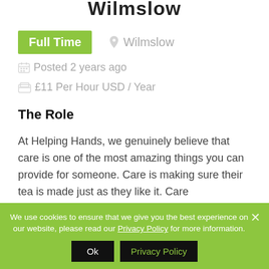Wilmslow
Full Time
Wilmslow
Posted 2 years ago
£11 Per Hour USD / Year
The Role
At Helping Hands, we genuinely believe that care is one of the most amazing things you can provide for someone. Care is making sure their tea is made just as they like it. Care
We use cookies to ensure that we give you the best experience on our website, please read our Privacy Policy for more information.